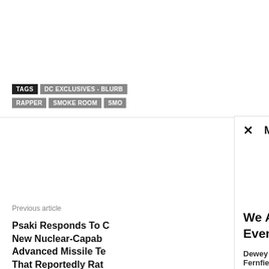TAGS   DC EXCLUSIVES - BLURB   RAPPER   SMOKE ROOM   SMO
× MORE STORIES
Previous article
Psaki Responds To C New Nuclear-Capab Advanced Missile Te That Reportedly Rat US Intelligence
We Are About To See Historic Events That Shake Our World
Dewey Fernfield  -  September 6, 2022